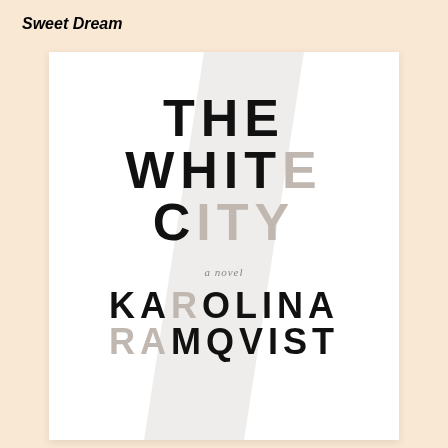Sweet Dream
[Figure (illustration): Book cover of 'The White City' by Karolina Ramqvist. White background with large bold black uppercase text reading THE / WHITE / CITY stacked vertically, with a diagonal pale gray slash overlay cutting across the cover. Subtitle 'a novel' in small italic text. Author name KAROLINA / RAMQVIST in bold uppercase at the bottom. Some letters in WHITE, CITY, and KAROLINA appear in a lighter gray tone due to the slash overlay effect.]